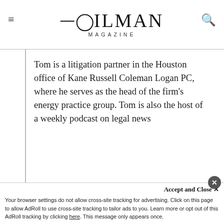OILMAN MAGAZINE
Tom is a litigation partner in the Houston office of Kane Russell Coleman Logan PC, where he serves as the head of the firm's energy practice group. Tom is also the host of a weekly podcast on legal news
[Figure (photo): PakEnergy advertisement showing split image of white rat vs fierce wolf with text: WEAK point solutions? NO THX! vs STRONG end-to-end? YESSSSS, I want — PakEnergy logo]
Accept and Close ✕
Your browser settings do not allow cross-site tracking for advertising. Click on this page to allow AdRoll to use cross-site tracking to tailor ads to you. Learn more or opt out of this AdRoll tracking by clicking here. This message only appears once.